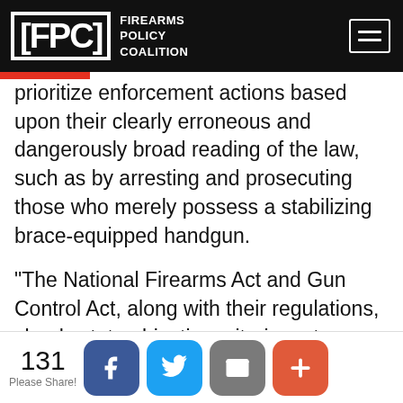FPC FIREARMS POLICY COALITION
prioritize enforcement actions based upon their clearly erroneous and dangerously broad reading of the law, such as by arresting and prosecuting those who merely possess a stabilizing brace-equipped handgun.
“The National Firearms Act and Gun Control Act, along with their regulations, clearly state objective criteria as to whether a firearm is a short barrel rifle, short barrel shotgun, or any other weapon,” explained Adam Kraut, FPC’s Director of Legal Strategy. “It remains evident that ATF’s policy preferences are hostile to law-
131 Please Share!